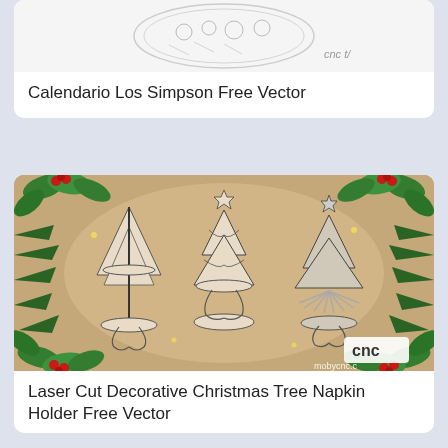[Figure (photo): Partial image of Calendario Los Simpson Free Vector circular design with sketched cartoon characters]
Calendario Los Simpson Free Vector
[Figure (photo): Photo of three laser-cut decorative wooden Christmas tree napkin holders on a tan background, surrounded by holly and pine branch decorations, with CNC logo and mobycnc.c watermark]
Laser Cut Decorative Christmas Tree Napkin Holder Free Vector